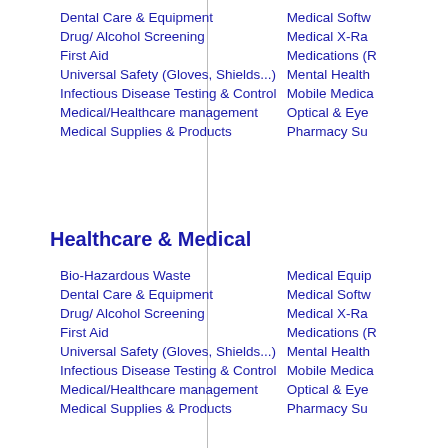Dental Care & Equipment
Drug/ Alcohol Screening
First Aid
Universal Safety (Gloves, Shields...)
Infectious Disease Testing & Control
Medical/Healthcare management
Medical Supplies & Products
Medical Softw...
Medical X-Ra...
Medications (R...
Mental Health...
Mobile Medica...
Optical & Eye...
Pharmacy Su...
Healthcare & Medical
Bio-Hazardous Waste
Dental Care & Equipment
Drug/ Alcohol Screening
First Aid
Universal Safety (Gloves, Shields...)
Infectious Disease Testing & Control
Medical/Healthcare management
Medical Supplies & Products
Medical Equip...
Medical Softw...
Medical X-Ra...
Medications (R...
Mental Health...
Mobile Medica...
Optical & Eye...
Pharmacy Su...